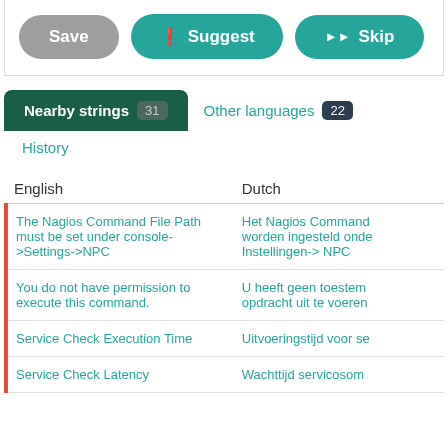[Figure (screenshot): UI buttons row with Save (grey), Suggest (teal, with icon), and Skip (teal, with skip icon) buttons]
Nearby strings 31
Other languages 22
History
| English | Dutch |
| --- | --- |
| The Nagios Command File Path must be set under console->Settings->NPC | Het Nagios Command worden ingesteld onde Instellingen-> NPC |
| You do not have permission to execute this command. | U heeft geen toestem opdracht uit te voeren |
| Service Check Execution Time | Uitvoeringstijd voor se |
| Service Check Latency | Wachttijd servicosom |